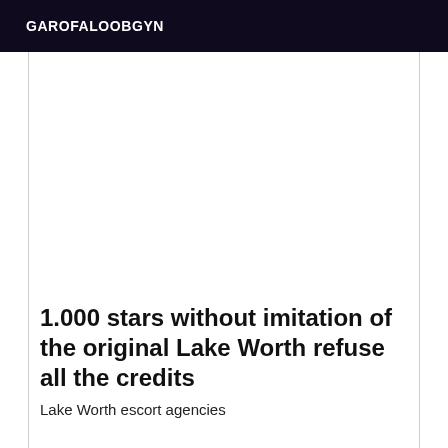GAROFALOOBGYN
1.000 stars without imitation of the original Lake Worth refuse all the credits
Lake Worth escort agencies